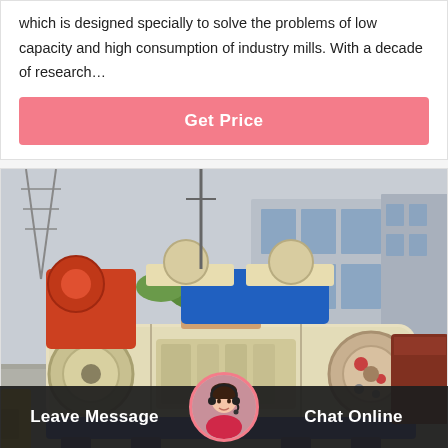which is designed specially to solve the problems of low capacity and high consumption of industry mills. With a decade of research…
Get Price
[Figure (photo): Industrial heavy machinery (roller mill/crusher) displayed in a factory yard with other equipment including sand washers with red and blue/cream hopper assemblies, buildings in background]
Leave Message
Chat Online